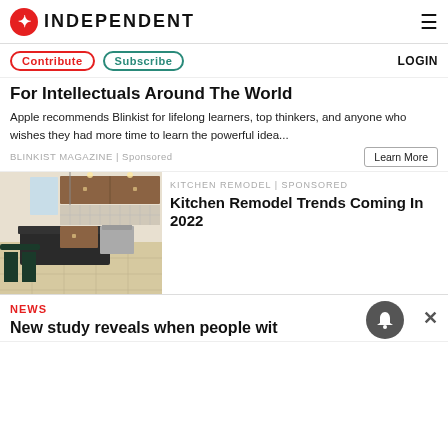INDEPENDENT
Contribute  Subscribe  LOGIN
For Intellectuals Around The World
Apple recommends Blinkist for lifelong learners, top thinkers, and anyone who wishes they had more time to learn the powerful idea...
BLINKIST MAGAZINE | Sponsored
Learn More
[Figure (photo): Kitchen with dark granite island countertop, wooden cabinets, stainless steel appliances, and tile floor]
KITCHEN REMODEL | Sponsored
Kitchen Remodel Trends Coming In 2022
NEWS
New study reveals when people wit